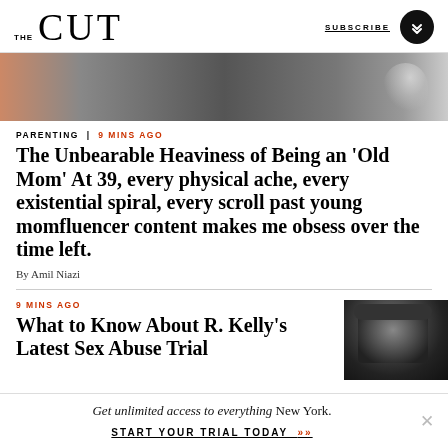THE CUT | SUBSCRIBE
[Figure (photo): Close-up photo of animal paws and rocky/earth texture with pink/peach background]
PARENTING | 9 MINS AGO
The Unbearable Heaviness of Being an ‘Old Mom’ At 39, every physical ache, every existential spiral, every scroll past young momfluencer content makes me obsess over the time left.
By Amil Niazi
9 MINS AGO
What to Know About R. Kelly’s Latest Sex Abuse Trial
[Figure (photo): Black and white photo of a man wearing sunglasses and a hat]
Get unlimited access to everything New York. START YOUR TRIAL TODAY »